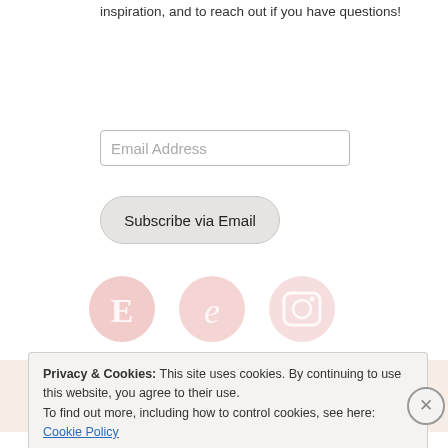inspiration, and to reach out if you have questions!
[Figure (screenshot): Email address input field with placeholder text 'Email Address']
[Figure (screenshot): Button labeled 'Subscribe via Email' with rounded pill shape]
[Figure (illustration): Three pink circular social media icons: Etsy (E), a cursive letter, and Instagram camera icon]
Privacy & Cookies: This site uses cookies. By continuing to use this website, you agree to their use.
To find out more, including how to control cookies, see here: Cookie Policy
[Figure (screenshot): Close and accept button for cookie notice]